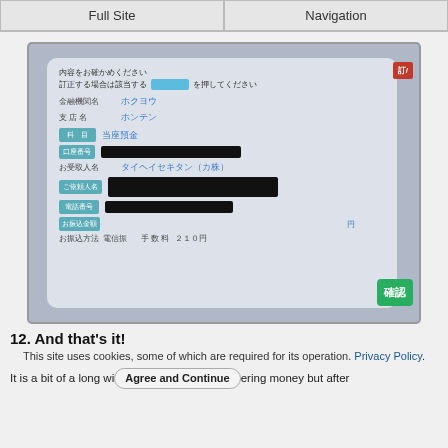Full Site | Navigation
[Figure (photo): A screenshot of a Japanese ATM confirmation screen showing bank transfer details. Fields include 金融機関名 (ホクヨウ), 支店名 (ホンテン), 科目 (当座預金), 口座番号 (redacted), お受取人名 (タイヘイセキタン（カ株）), ご依頼人名 (redacted), 電話番号 (redacted), お振込金額, and お振込方法 (電信振 手数料 210円). A red button at top right and green 確認 button at bottom right are visible.]
12. And that's it!
This site uses cookies, some of which are required for its operation. Privacy Policy.
It is a bit of a long wi  [Agree and Continue]  ering money but after